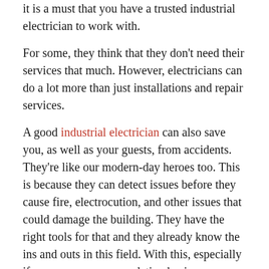it is a must that you have a trusted industrial electrician to work with.
For some, they think that they don't need their services that much. However, electricians can do a lot more than just installations and repair services.
A good industrial electrician can also save you, as well as your guests, from accidents. They're like our modern-day heroes too. This is because they can detect issues before they cause fire, electrocution, and other issues that could damage the building. They have the right tools for that and they already know the ins and outs in this field. With this, especially if you run an accommodation business, your guests can relax in their rooms without having to fear for their security and safety.
A residential electrician can keep your business too. Again, electricity provides convenience. And if your